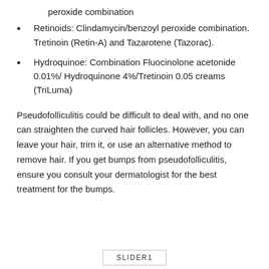peroxide combination
Retinoids: Clindamycin/benzoyl peroxide combination. Tretinoin (Retin-A) and Tazarotene (Tazorac).
Hydroquinoe: Combination Fluocinolone acetonide 0.01%/ Hydroquinone 4%/Tretinoin 0.05 creams (TriLuma)
Pseudofolliculitis could be difficult to deal with, and no one can straighten the curved hair follicles. However, you can leave your hair, trim it, or use an alternative method to remove hair. If you get bumps from pseudofolliculitis, ensure you consult your dermatologist for the best treatment for the bumps.
SLIDER1